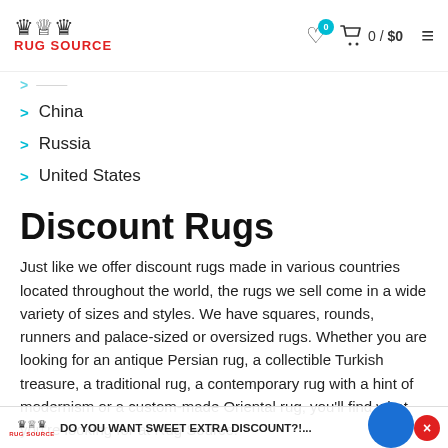RUG SOURCE — header with logo, wishlist, cart 0/$0, menu
China
Russia
United States
Discount Rugs
Just like we offer discount rugs made in various countries located throughout the world, the rugs we sell come in a wide variety of sizes and styles. We have squares, rounds, runners and palace-sized or oversized rugs. Whether you are looking for an antique Persian rug, a collectible Turkish treasure, a traditional rug, a contemporary rug with a hint of modernism or a custom-made Oriental rug, you'll find what you're looking for at Rug Source.
We are able to offer such a generous selection of high quality eye-catching rugs because our buyers are not content to purchase from just any supplier. Instead, they travel to the locations where
DO YOU WANT SWEET EXTRA DISCOUNT?!...